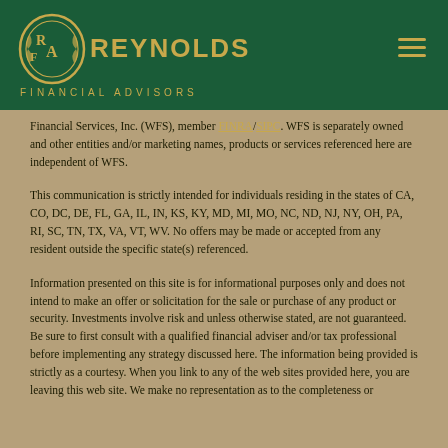[Figure (logo): Reynolds Financial Advisors logo — circular emblem with R and A initials, green background header with gold text 'REYNOLDS' and 'FINANCIAL ADVISORS']
Financial Services, Inc. (WFS), member FINRA/SIPC. WFS is separately owned and other entities and/or marketing names, products or services referenced here are independent of WFS.
This communication is strictly intended for individuals residing in the states of CA, CO, DC, DE, FL, GA, IL, IN, KS, KY, MD, MI, MO, NC, ND, NJ, NY, OH, PA, RI, SC, TN, TX, VA, VT, WV. No offers may be made or accepted from any resident outside the specific state(s) referenced.
Information presented on this site is for informational purposes only and does not intend to make an offer or solicitation for the sale or purchase of any product or security. Investments involve risk and unless otherwise stated, are not guaranteed. Be sure to first consult with a qualified financial adviser and/or tax professional before implementing any strategy discussed here. The information being provided is strictly as a courtesy. When you link to any of the web sites provided here, you are leaving this web site. We make no representation as to the completeness or